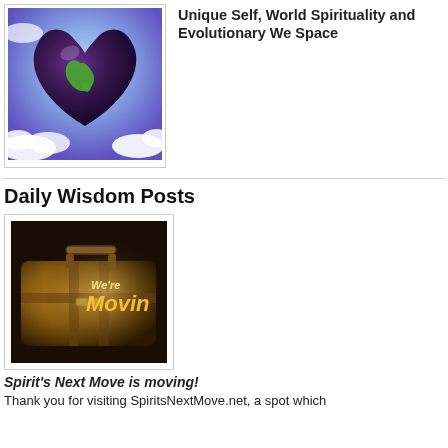[Figure (illustration): Heart-shaped globe with green continents floating among clouds against a purple/blue sky background]
Unique Self, World Spirituality and Evolutionary We Space
Daily Wisdom Posts
[Figure (photo): Old vintage suitcase/luggage in dark warm tones with text overlay reading 'We're Movin' in golden italic letters]
Spirit's Next Move is moving!
Thank you for visiting SpiritsNextMove.net, a spot which